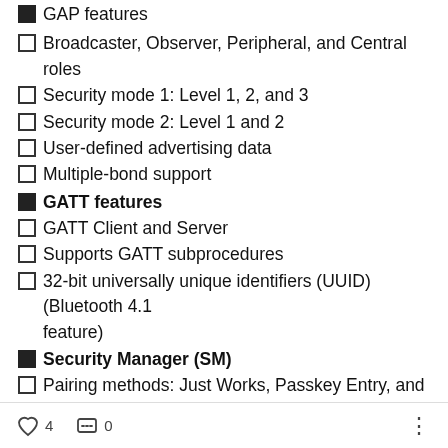GAP features (partial, top cut off)
Broadcaster, Observer, Peripheral, and Central roles
Security mode 1: Level 1, 2, and 3
Security mode 2: Level 1 and 2
User-defined advertising data
Multiple-bond support
GATT features
GATT Client and Server
Supports GATT subprocedures
32-bit universally unique identifiers (UUID) (Bluetooth 4.1 feature)
Security Manager (SM)
Pairing methods: Just Works, Passkey Entry, and Out of
4  0